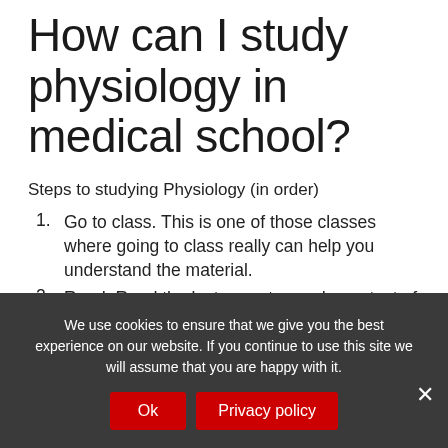How can I study physiology in medical school?
Steps to studying Physiology (in order)
Go to class. This is one of those classes where going to class really can help you understand the material.
Read. Read the lecture notes and your text of choice.
Make an outline. Draw, graph, and table the relationships that are found in the texts.
We use cookies to ensure that we give you the best experience on our website. If you continue to use this site we will assume that you are happy with it.